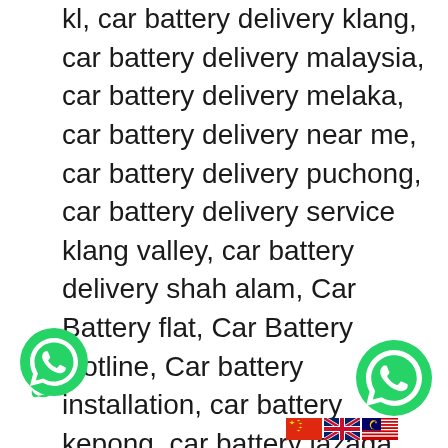kl, car battery delivery klang, car battery delivery malaysia, car battery delivery melaka, car battery delivery near me, car battery delivery puchong, car battery delivery service klang valley, car battery delivery shah alam, Car Battery flat, Car Battery Hotline, Car battery installation, car battery kepong, car battery lazada, car battery malaysia, car battery malaysia price 2018, car battery malaysia price 2020, car battery pj, car battery price malaysia 2019, car battery price malaysia 2020, Car Battery Rescue, Car Battery Service, car battery shop near me, century battery delivery, century battery near me, century battery